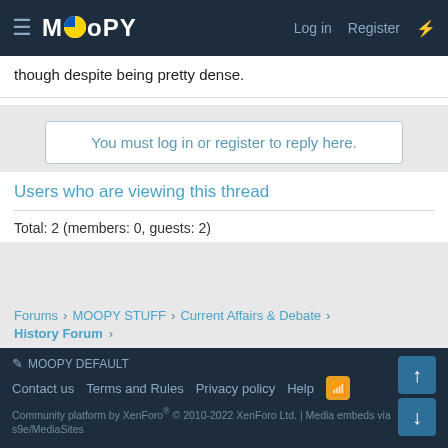MOOPY  Log in  Register
though despite being pretty dense.
You must log in or register to reply here.
Users who are viewing this thread
Total: 2 (members: 0, guests: 2)
Forums > MOOPY STUFF > Current Affairs & Debate > History Forum >
MOOPY DEFAULT  Contact us  Terms and Rules  Privacy policy  Help  Community platform by XenForo® © 2010-2022 XenForo Ltd. | Media embeds via s9e/MediaSites